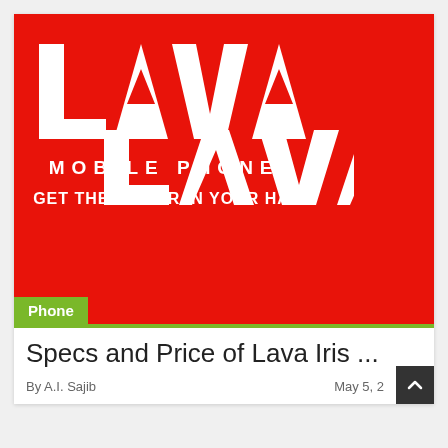[Figure (logo): Lava Mobile Phones advertisement banner on red background. Shows LAVA logo in white, text MOBILE PHONES, and tagline GET THE POWER IN YOUR HAND.]
Phone
Specs and Price of Lava Iris ...
By A.I. Sajib
May 5, 2